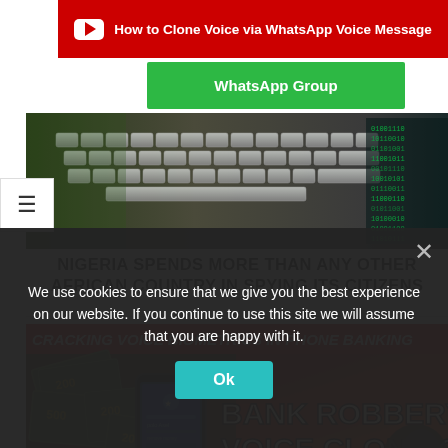[Figure (screenshot): Red YouTube banner with play button icon and text 'How to Clone Voice via WhatsApp Voice Message']
[Figure (screenshot): Green WhatsApp Group button]
[Figure (photo): Background keyboard/technology photo]
NIGERIA SPENDS MORE THAN ANY OTHER AFRICAN COUNTRY IN SPYING ITS CITIZENS
[Figure (screenshot): Banner image: CRACKING VOICE BIOMETRICS IN PHONE BANKING - BANK ROBBERY VIA VOICE CLONING with phone showing banking app and money]
We use cookies to ensure that we give you the best experience on our website. If you continue to use this site we will assume that you are happy with it.